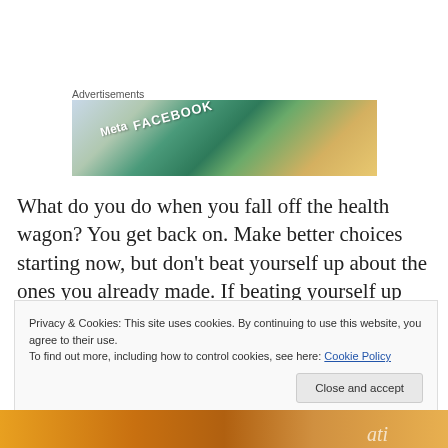Advertisements
[Figure (photo): Advertisement banner image showing cards/tiles with Meta and Facebook logos and other colorful elements]
What do you do when you fall off the health wagon? You get back on. Make better choices starting now, but don't beat yourself up about the ones you already made. If beating yourself up counted as exercise, I'd say “Knock yourself out!” But it’s not, and that was a great pun,
Privacy & Cookies: This site uses cookies. By continuing to use this website, you agree to their use.
To find out more, including how to control cookies, see here: Cookie Policy
[Figure (photo): Bottom image strip with orange/yellow tones and partial italic text visible]